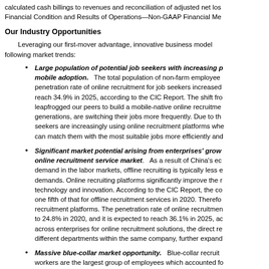calculated cash billings to revenues and reconciliation of adjusted net loss. Financial Condition and Results of Operations—Non-GAAP Financial Me...
Our Industry Opportunities
Leveraging our first-mover advantage, innovative business model and following market trends:
Large population of potential job seekers with increasing p... mobile adoption. The total population of non-farm employee... penetration rate of online recruitment for job seekers increased... reach 34.9% in 2025, according to the CIC Report. The shift fro... leapfrogged our peers to build a mobile-native online recruitme... generations, are switching their jobs more frequently. Due to th... seekers are increasingly using online recruitment platforms whe... can match them with the most suitable jobs more efficiently and...
Significant market potential arising from enterprises' grow... online recruitment service market. As a result of China's ec... demand in the labor markets, offline recruiting is typically less e... demands. Online recruiting platforms significantly improve the r... technology and innovation. According to the CIC Report, the co... one fifth of that for offline recruitment services in 2020. Theref... recruitment platforms. The penetration rate of online recruitmen... to 24.8% in 2020, and it is expected to reach 36.1% in 2025, ac... across enterprises for online recruitment solutions, the direct re... different departments within the same company, further expand...
Massive blue-collar market opportunity. Blue-collar recruit... workers are the largest group of employees which accounted fo... collar workers generally switch jobs more frequently. According...